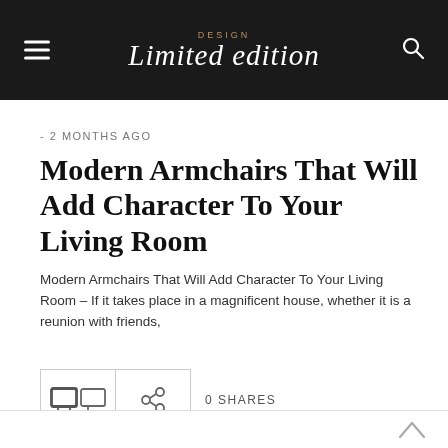Design Limited Edition
- 2 MONTHS AGO
Modern Armchairs That Will Add Character To Your Living Room
Modern Armchairs That Will Add Character To Your Living Room – If it takes place in a magnificent house, whether it is a reunion with friends,
0 SHARES